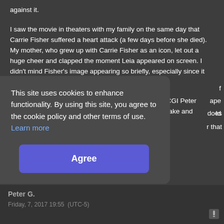against it.
I saw the movie in theaters with my family on the same day that Carrie Fisher suffered a heart attack (a few days before she died). My mother, who grew up with Carrie Fisher as an icon, let out a huge cheer and clapped the moment Leia appeared on screen. I didn't mind Fisher's image appearing so briefly, especially since it was "filmed" while the actress was still alive.
Interestingly, the rest of my family was fooled by the CGI Peter Cushing, whereas I found his appearance incredibly fake and distracting. I wish they had just kept Wayne
This site uses cookies to enhance functionality. By using this site, you agree to the cookie policy and other terms of use.  Learn more
Agree
Peter G.
Friday, 7, 2017 19:55  (UTC-5)